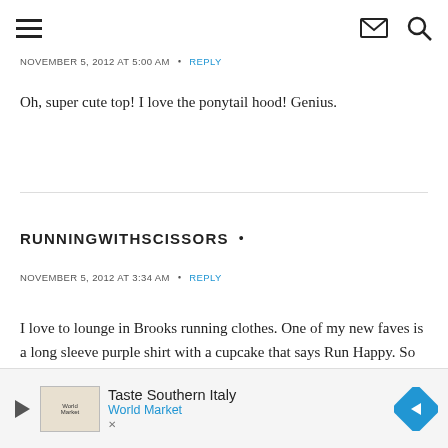[hamburger menu] [envelope icon] [search icon]
NOVEMBER 5, 2012 AT 5:00 AM  •  REPLY
Oh, super cute top! I love the ponytail hood! Genius.
RUNNINGWITHSCISSORS  •
NOVEMBER 5, 2012 AT 3:34 AM  •  REPLY
I love to lounge in Brooks running clothes. One of my new faves is a long sleeve purple shirt with a cupcake that says Run Happy. So careful
Taste Southern Italy
World Market